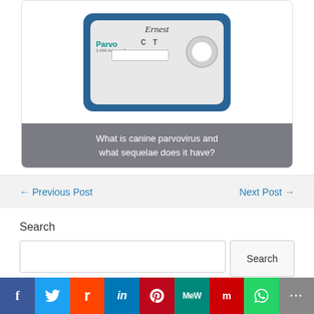[Figure (photo): Canine parvovirus rapid test device (Parvo test kit) with a dog named Ernest, showing C and T test lines on the lateral flow strip, with a sample knob on the right side.]
What is canine parvovirus and what sequelae does it have?
← Previous Post
Next Post →
Search
[Figure (screenshot): Search input box with a Search button]
[Figure (infographic): Social sharing bar with buttons for Facebook, Twitter, Reddit, LinkedIn, Pinterest, MeWe, Mix, WhatsApp, and More]